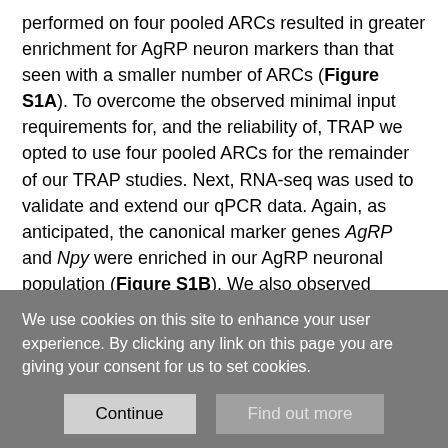performed on four pooled ARCs resulted in greater enrichment for AgRP neuron markers than that seen with a smaller number of ARCs (Figure S1A). To overcome the observed minimal input requirements for, and the reliability of, TRAP we opted to use four pooled ARCs for the remainder of our TRAP studies. Next, RNA-seq was used to validate and extend our qPCR data. Again, as anticipated, the canonical marker genes AgRP and Npy were enriched in our AgRP neuronal population (Figure S1B). We also observed enrichment for other genes known to be expressed in these neurons, including Corin, Otp, Ghsr, and Acvr1c (Henry et al., 2017). Notably, the Serpina3 family of genes was markedly enriched in AgRP neurons, including Serpina3c, the third-most
We use cookies on this site to enhance your user experience. By clicking any link on this page you are giving your consent for us to set cookies.